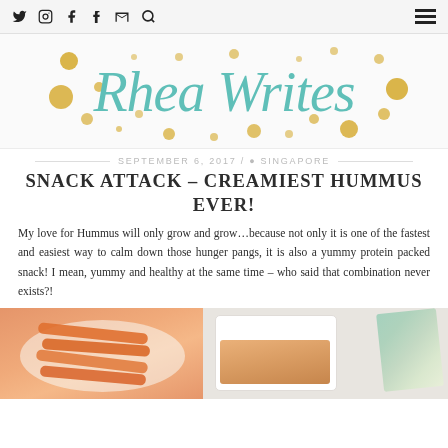Navigation icons: Twitter, Instagram, Facebook, Tumblr, Email, Search | Hamburger menu
[Figure (logo): Rhea Writes blog logo in teal cursive script with gold decorative dots]
SEPTEMBER 6, 2017 / ♥ SINGAPORE
SNACK ATTACK – CREAMIEST HUMMUS EVER!
My love for Hummus will only grow and grow…because not only it is one of the fastest and easiest way to calm down those hunger pangs, it is also a yummy protein packed snack! I mean, yummy and healthy at the same time – who said that combination never exists?!
[Figure (photo): Photo of hummus in a white rectangular bowl with carrot sticks on a plate, with decorative watercolor paper in background]